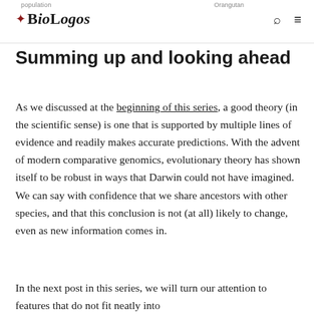BioLogos — population / Orangutan
Summing up and looking ahead
As we discussed at the beginning of this series, a good theory (in the scientific sense) is one that is supported by multiple lines of evidence and readily makes accurate predictions. With the advent of modern comparative genomics, evolutionary theory has shown itself to be robust in ways that Darwin could not have imagined. We can say with confidence that we share ancestors with other species, and that this conclusion is not (at all) likely to change, even as new information comes in.
In the next post in this series, we will turn our attention to features that do not fit neatly into